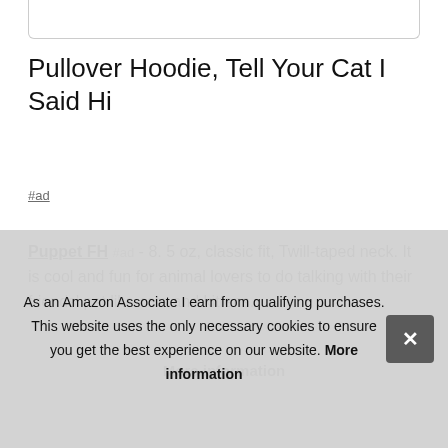[Figure (photo): Partial product image box at top of page, cropped]
Pullover Hoodie, Tell Your Cat I Said Hi
#ad
Puppet FH #ad - 8. 5 oz, classic fit, Twill-taped neck. It is cool and fun for animal lovers to do talking with their friends' pet like cats and kittens.
More information
As an Amazon Associate I earn from qualifying purchases. This website uses the only necessary cookies to ensure you get the best experience on our website. More information